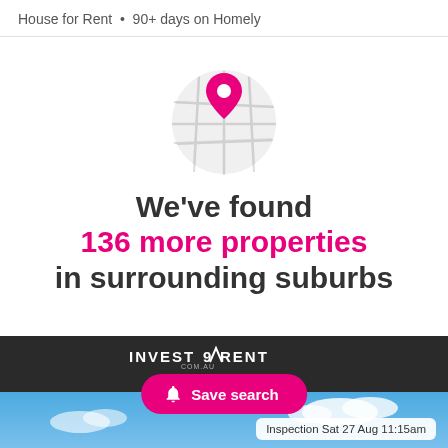House for Rent • 90+ days on Homely
[Figure (illustration): A circular map icon with a pink location pin in the center, light grey map background]
We've found 136 more properties in surrounding suburbs
[Figure (logo): INVESTARENT.COM.AU logo in white text on dark background]
Save search
Inspection Sat 27 Aug 11:15am